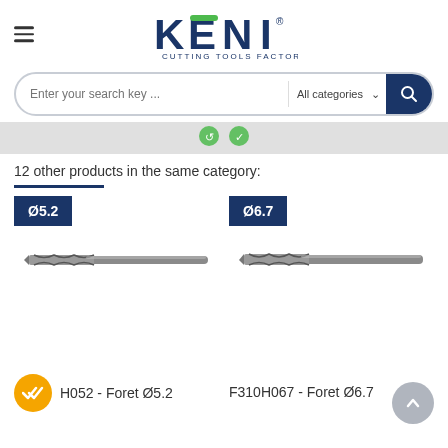KENI - CUTTING TOOLS FACTORY
Enter your search key ... All categories
12 other products in the same category:
[Figure (photo): Two drill bits shown side by side. Left drill bit labeled Ø5.2, right drill bit labeled Ø6.7.]
H052 - Foret Ø5.2
F310H067 - Foret Ø6.7